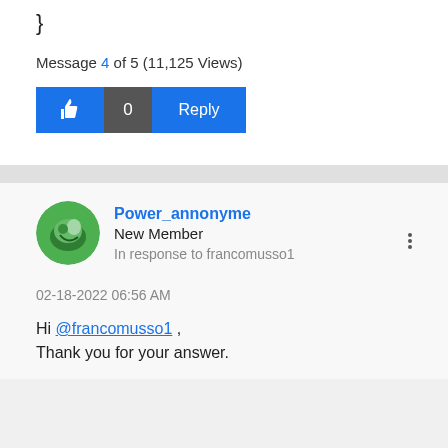}
Message 4 of 5 (11,125 Views)
0  Reply
Power_annonyme
New Member
In response to francomusso1
02-18-2022 06:56 AM
Hi @francomusso1 ,
Thank you for your answer.